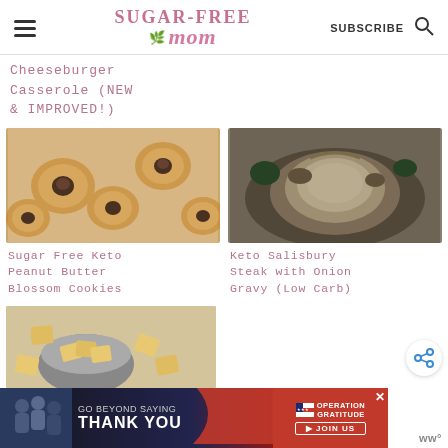Sugar-Free Mom | SUBSCRIBE
Cheeseburger Casserole (NEW & IMPROVED!)
[Figure (photo): Sugar Free Keto Peanut Butter Blossom Cookies - peanut butter cookies with chocolate centers on a white surface]
Sugar Free Keto Peanut Butter Blossom Cookies
[Figure (photo): Keto Salisbury Steak with Onion Gravy (Low Carb) - steak with mushroom gravy on a dark plate]
Keto Salisbury Steak with Onion Gravy (Low Carb)
[Figure (photo): Keto crackers/snacks in a tin bowl with more arranged around it]
[Figure (infographic): Advertisement banner: GO BEYOND SAYING THANK YOU - Operation Gratitude JOIN US]